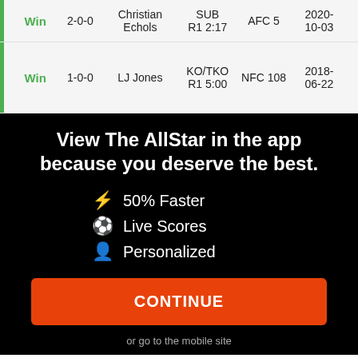| Result | Record | Opponent | Method | Event | Date |
| --- | --- | --- | --- | --- | --- |
| Win | 2-0-0 | Christian Echols | SUB R1 2:17 | AFC 5 | 2020-10-03 |
| Win | 1-0-0 | LJ Jones | KO/TKO R1 5:00 | NFC 108 | 2018-06-22 |
View The AllStar in the app because you deserve the best.
⚡ 50% Faster
⚽ Live Scores
👤 Personalized
CONTINUE
or go to the mobile site